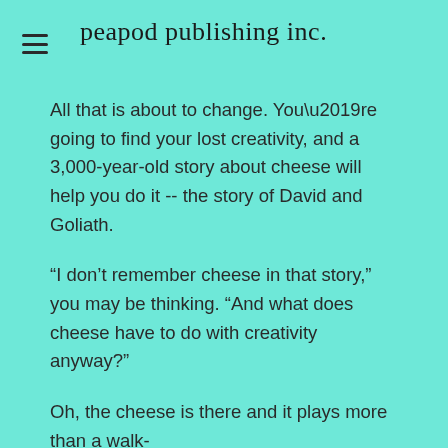peapod publishing inc.
All that is about to change. You’re going to find your lost creativity, and a 3,000-year-old story about cheese will help you do it -- the story of David and Goliath.
“I don’t remember cheese in that story,” you may be thinking. “And what does cheese have to do with creativity anyway?”
Oh, the cheese is there and it plays more than a walk-